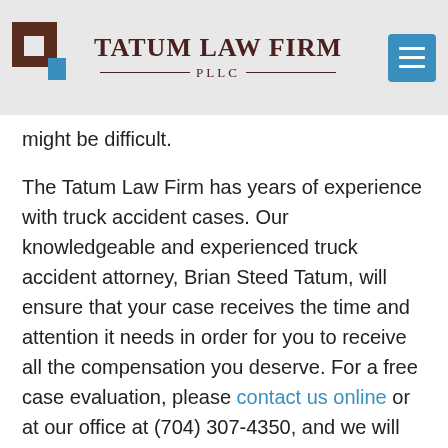Tatum Law Firm PLLC
might be difficult.
The Tatum Law Firm has years of experience with truck accident cases. Our knowledgeable and experienced truck accident attorney, Brian Steed Tatum, will ensure that your case receives the time and attention it needs in order for you to receive all the compensation you deserve. For a free case evaluation, please contact us online or at our office at (704) 307-4350, and we will be happy to work with you.